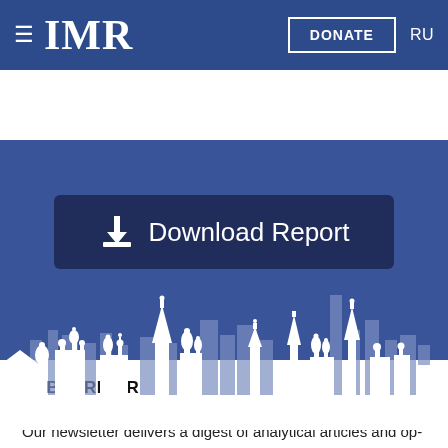≡ IMR   DONATE   RU
[Figure (screenshot): Download Report button with download icon on a dark navy blue background, above a white silhouette cityscape (Moscow skyline) on a medium blue background]
SUBSCRIBER
Our newsletter delivers a digest of analytical articles and op-eds published on our website, along with the latest updates on the IMR activities on a monthly basis.